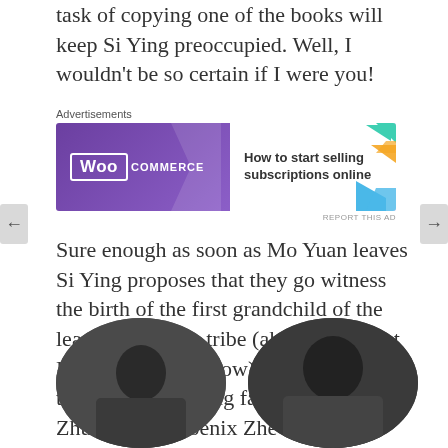task of copying one of the books will keep Si Ying preoccupied. Well, I wouldn't be so certain if I were you!
[Figure (other): WooCommerce advertisement banner: purple background on left with WooCommerce logo, white background on right with text 'How to start selling subscriptions online', decorative colored shapes (teal, orange, blue) on right side]
Sure enough as soon as Mo Yuan leaves Si Ying proposes that they go witness the birth of the first grandchild of the leader of the fox tribe (aka her dad, but Ling Yu doesn't know). Knowing well that Ling Yu is a big fan of her dad Bai Zhu and the phoenix Zhe Yan, she entices him with the opportunity to see them. Plus! She promises that this trip will only take half a day since she knows a shortcut. This doesn't sound good I tell ya. Shortcuts never work out.
[Figure (photo): Two circular cropped photos at the bottom of the page, partially visible]